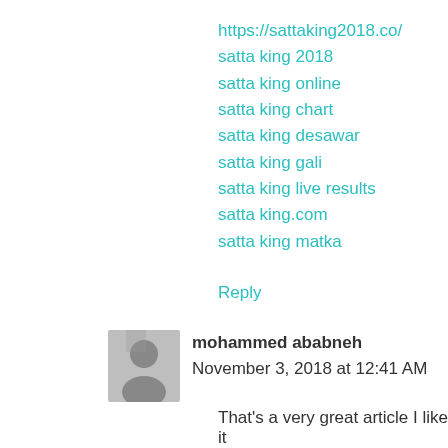https://sattaking2018.co/
satta king 2018
satta king online
satta king chart
satta king desawar
satta king gali
satta king live results
satta king.com
satta king matka
Reply
mohammed ababneh  November 3, 2018 at 12:41 AM
That's a very great article I like it